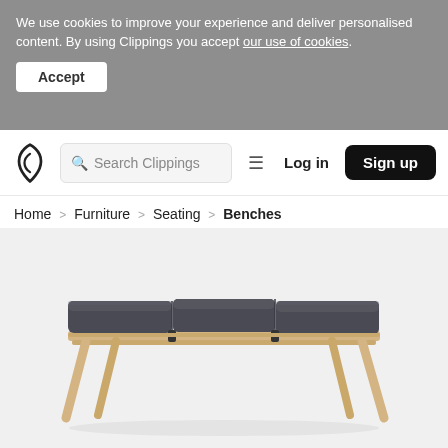We use cookies to improve your experience and deliver personalised content. By using Clippings you accept our use of cookies.
Accept
Search Clippings | Log in | Sign up
Home > Furniture > Seating > Benches
[Figure (photo): A modern wooden bench with three dark grey upholstered seat cushions and angled natural wood legs, photographed on a white background.]